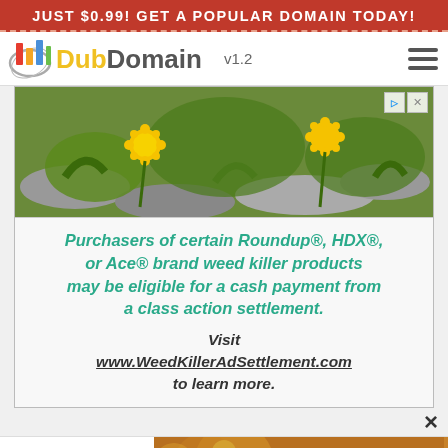JUST $0.99! GET A POPULAR DOMAIN TODAY!
DubDomain v1.2
[Figure (photo): Advertisement banner showing dandelion weeds growing between stones, with a weed killer class action settlement notice. Text reads: Purchasers of certain Roundup®, HDX®, or Ace® brand weed killer products may be eligible for a cash payment from a class action settlement. Visit www.WeedKillerAdSettlement.com to learn more.]
About .com - Basic
[Figure (photo): Partial Etsy advertisement banner showing decorative items with a 'Go To Etsy For More' button]